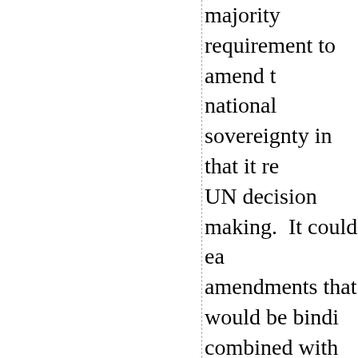majority requirement to amend the national sovereignty in that it re... UN decision making.  It could ea... amendments that would be bindi... combined with Article 23 which ... sign it are subject to it, we have ... world governance that would ha... Canadians.“
“In addition, there are aspects, ... from providing aid to its needy a... the aims of countries opposed to... Arms Trade Treaty is bad for Ca... should not sign it,” stated Mr. Ch... terrorism, perhaps better ways to... economic situations, political di... contribute to people agitating fo...
“A global ATT would only be ... economic advantage by limiting ... would use such a treaty to disarm...
In addition to its participation... Future of Sport Shooting Activit... is a founding member of The Int... Civilian Arms Rights (IARCAR...